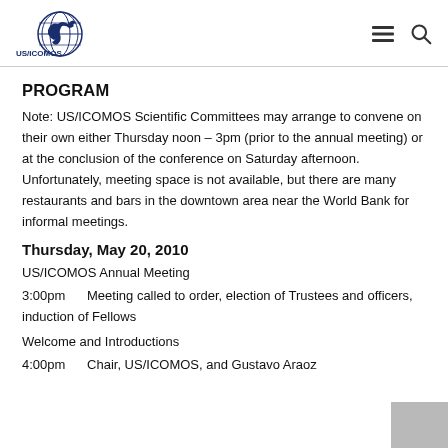US/ICOMOS logo with navigation icons
PROGRAM
Note: US/ICOMOS Scientific Committees may arrange to convene on their own either Thursday noon – 3pm (prior to the annual meeting) or at the conclusion of the conference on Saturday afternoon. Unfortunately, meeting space is not available, but there are many restaurants and bars in the downtown area near the World Bank for informal meetings.
Thursday, May 20, 2010
US/ICOMOS Annual Meeting
3:00pm      Meeting called to order, election of Trustees and officers, induction of Fellows
Welcome and Introductions
4:00pm      Chair, US/ICOMOS, and Gustavo Araoz